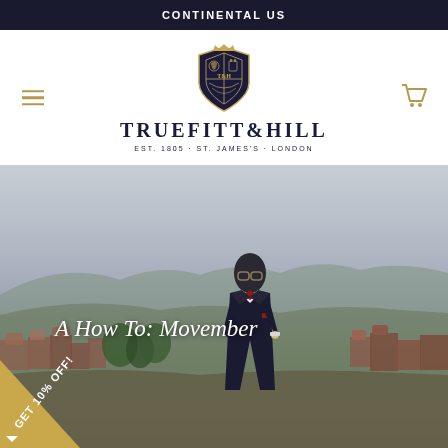CONTINENTAL US
[Figure (logo): Truefitt & Hill brand logo with heraldic crest, brand name TRUEFITT&HILL and tagline EST. 1805 · ST. JAMES'S · LONDON. Navigation icons: hamburger menu on left, shopping cart on right.]
[Figure (photo): Hero image of a well-dressed man in a dark navy suit with red bow tie and pocket square, standing on a rooftop with a European cityscape of red rooftops and mountains in the background.]
A How To: Movember
GET 10% OFF!